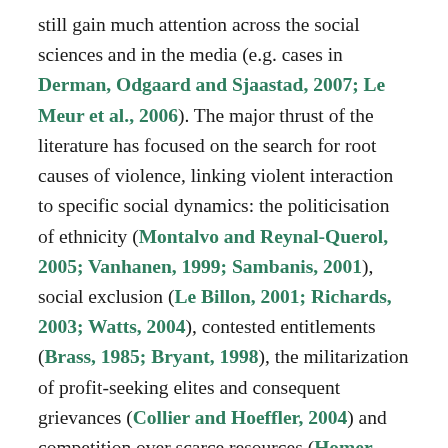still gain much attention across the social sciences and in the media (e.g. cases in Derman, Odgaard and Sjaastad, 2007; Le Meur et al., 2006). The major thrust of the literature has focused on the search for root causes of violence, linking violent interaction to specific social dynamics: the politicisation of ethnicity (Montalvo and Reynal-Querol, 2005; Vanhanen, 1999; Sambanis, 2001), social exclusion (Le Billon, 2001; Richards, 2003; Watts, 2004), contested entitlements (Brass, 1985; Bryant, 1998), the militarization of profit-seeking elites and consequent grievances (Collier and Hoeffler, 2004) and competition over scarce resources (Homer-Dixon, 1994). This general tendency to focus on the causes of violence has often implied a neglect of non-violent